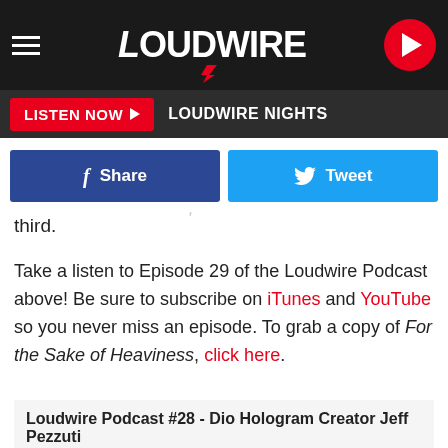LOUDWIRE — LOUDWIRE NIGHTS — LISTEN NOW
[Figure (screenshot): Loudwire website header with logo, hamburger menu, play button, Listen Now button and Loudwire Nights text]
third.
Take a listen to Episode 29 of the Loudwire Podcast above! Be sure to subscribe on iTunes and YouTube so you never miss an episode. To grab a copy of For the Sake of Heaviness, click here.
Loudwire Podcast #28 - Dio Hologram Creator Jeff Pezzuti